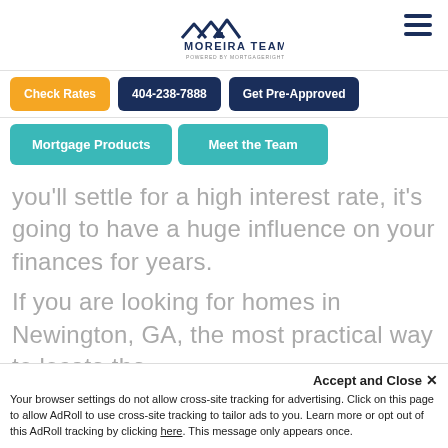[Figure (logo): Moreira Team logo with house icon and text 'MOREIRA TEAM POWERED BY MORTGAGERIGHT']
[Figure (other): Hamburger menu icon (three horizontal lines)]
Check Rates
404-238-7888
Get Pre-Approved
Mortgage Products
Meet the Team
you'll settle for a high interest rate, it's going to have a huge influence on your finances for years.
If you are looking for homes in Newington, GA, the most practical way to locate the
Accept and Close ✕
Your browser settings do not allow cross-site tracking for advertising. Click on this page to allow AdRoll to use cross-site tracking to tailor ads to you. Learn more or opt out of this AdRoll tracking by clicking here. This message only appears once.